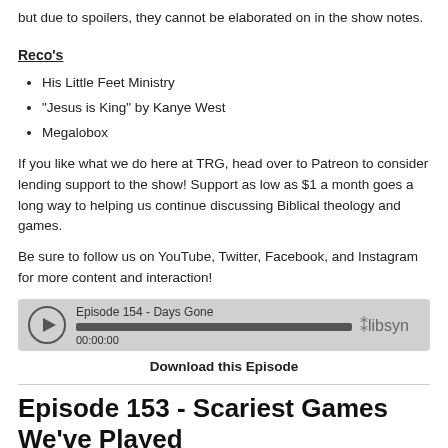but due to spoilers, they cannot be elaborated on in the show notes.
Reco's
His Little Feet Ministry
“Jesus is King” by Kanye West
Megalobox
If you like what we do here at TRG, head over to Patreon to consider lending support to the show! Support as low as $1 a month goes a long way to helping us continue discussing Biblical theology and games.
Be sure to follow us on YouTube, Twitter, Facebook, and Instagram for more content and interaction!
[Figure (other): Embedded audio player for Episode 154 - Days Gone. Shows play button, progress bar, timestamp 00:00:00, and libsyn logo.]
Download this Episode
Episode 153 - Scariest Games We've Played
Oct 21, 2019
Join Logan and "James Bond" as we discuss some of the scariest games in gaming. The guys kick off the show by discussing the different ways you can